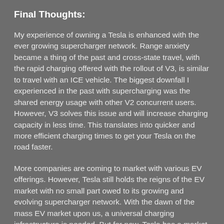Final Thoughts:
My experience of owning a Tesla is enhanced with the ever growing supercharger network. Range anxiety became a thing of the past and cross-state travel, with the rapid charging offered with the rollout of V3, is similar to travel with an ICE vehicle. The biggest downfall I experienced in the past with supercharging was the shared energy usage with other V2 concurrent users. However, V3 solves this issue and will increase charging capacity in less time. This translates into quicker and more efficient charging times to get your Tesla on the road faster.
More companies are coming to market with various EV offerings. However, Tesla still holds the reigns of the EV market with no small part owed to its growing and evolving supercharger network. With the dawn of the mass EV market upon us, a universal charging infrastructure is needed. But for now, Tesla has a market advantage because the company has not only focused on developing an exceptional